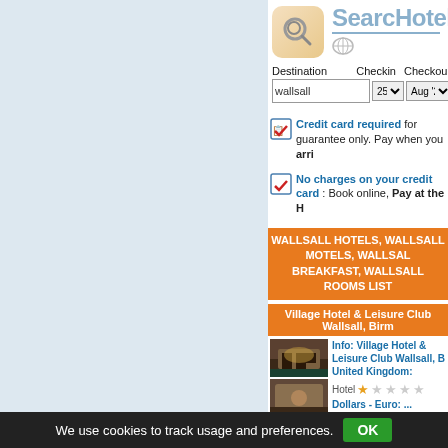[Figure (screenshot): SearcHotel website logo with magnifying glass icon]
Destination: wallsall | Checkin: 25 Aug '22 | Checkout: 26
Credit card required for guarantee only. Pay when you arrive
No charges on your credit card: Book online, Pay at the Hotel
WALLSALL HOTELS, WALLSALL MOTELS, WALLSALL BREAKFAST, WALLSALL ROOMS LIST
Village Hotel & Leisure Club Wallsall, Birmingham
Info: Village Hotel & Leisure Club Wallsall, B United Kingdom:
Hotel ★☆☆☆☆
Dollars - Euro: ...
We use cookies to track usage and preferences. OK